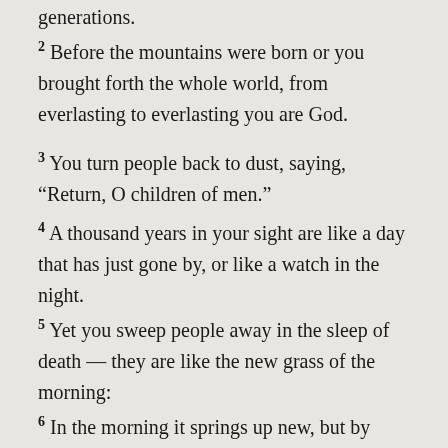generations.
2 Before the mountains were born or you brought forth the whole world, from everlasting to everlasting you are God.
3 You turn people back to dust, saying, “Return, O children of men.”
4 A thousand years in your sight are like a day that has just gone by, or like a watch in the night.
5 Yet you sweep people away in the sleep of death — they are like the new grass of the morning:
6 In the morning it springs up new, but by evening it is dry and withered.
7 We are consumed by your anger and terrified by your indignation.